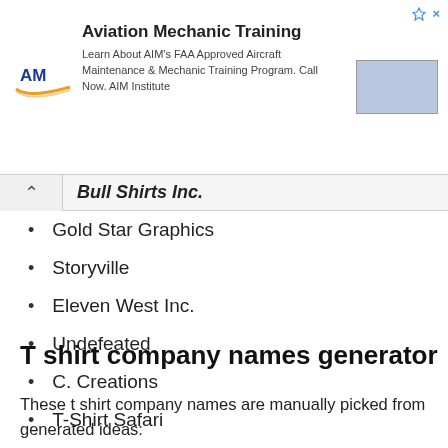[Figure (other): Advertisement banner for AIM Institute Aviation Mechanic Training with logo and image]
Bull Shirts Inc.
Gold Star Graphics
Storyville
Eleven West Inc.
Undefeated
C. Creations
T-Shirt Safari
T shirt company names generator
These t shirt company names are manually picked from generated ideas: